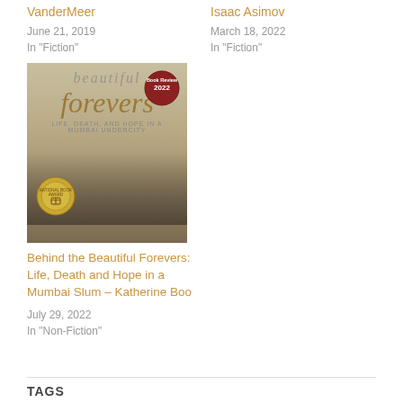VanderMeer
June 21, 2019
In "Fiction"
Isaac Asimov
March 18, 2022
In "Fiction"
[Figure (photo): Book cover of 'Behind the Beautiful Forevers: Life, Death and Hope in a Mumbai Slum' by Katherine Boo, featuring stylized italic text 'forevers' and a National Book Award medal]
Behind the Beautiful Forevers: Life, Death and Hope in a Mumbai Slum – Katherine Boo
July 29, 2022
In "Non-Fiction"
TAGS